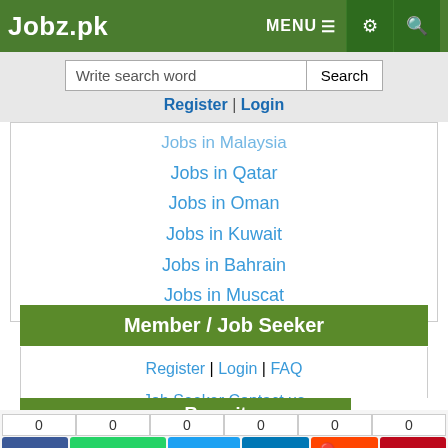Jobz.pk | MENU
Write search word | Search
Register | Login
Jobs in Malaysia
Jobs in Qatar
Jobs in Oman
Jobs in Kuwait
Jobs in Bahrain
Jobs in Muscat
Member / Job Seeker
Register | Login | FAQ
Job Seeker Contact us
CV Samples | Freelancer
Recruiter | Close x
0 Share | 0 WhatsApp | 0 Tweet | 0 Share | 0 Reddit | 0 Pin
0 Recommend | Subscribe
Alerts | Register | Login
Jobs Alert | Feed | Prize Bond | Jobs by Video